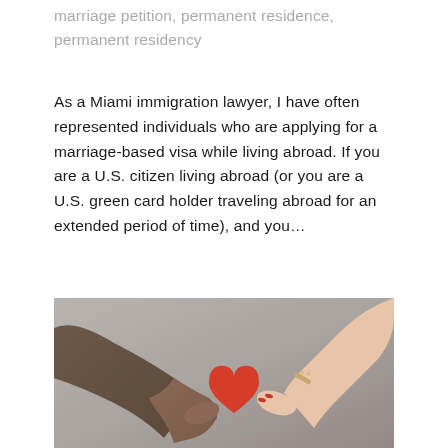marriage petition, permanent residence, permanent residency
As a Miami immigration lawyer, I have often represented individuals who are applying for a marriage-based visa while living abroad. If you are a U.S. citizen living abroad (or you are a U.S. green card holder traveling abroad for an extended period of time), and you...
[Figure (photo): Two hands holding a red paper heart between them. The left hand belongs to a person with a tattooed arm wearing a jacket sleeve, and the right hand belongs to a person wearing a bracelet with charms. The background is a soft grey-beige gradient.]